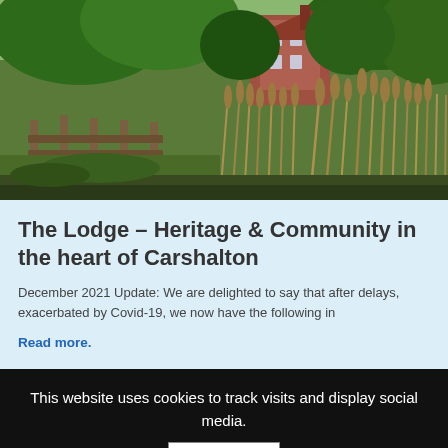[Figure (photo): Outdoor photograph showing tall reeds/grasses in the foreground, a wooden fence/jetty structure, green trees, and a red-brick building (The Lodge) visible in the background under bright daylight.]
The Lodge – Heritage & Community in the heart of Carshalton
December 2021 Update: We are delighted to say that after delays, exacerbated by Covid-19, we now have the following in
Read more.
This website uses cookies to track visits and display social media.
Accept